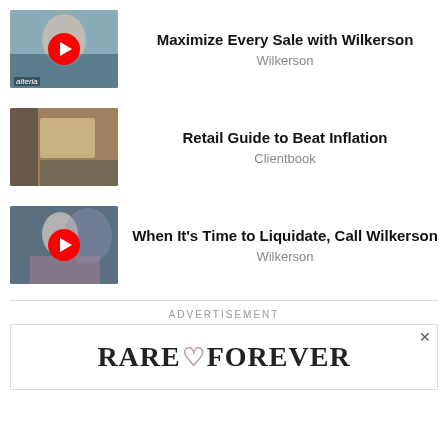[Figure (photo): Thumbnail of a woman with a red play button overlay, labeled alteria]
Maximize Every Sale with Wilkerson
Wilkerson
[Figure (photo): Thumbnail of a person at a retail counter]
Retail Guide to Beat Inflation
Clientbook
[Figure (photo): Thumbnail of a man in a suit with a red play button overlay]
When It's Time to Liquidate, Call Wilkerson
Wilkerson
ADVERTISEMENT
[Figure (logo): RARE & FOREVER advertisement logo]